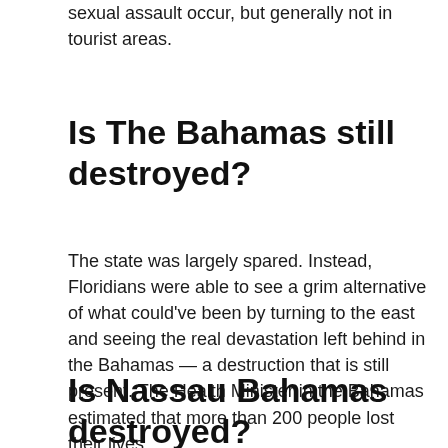sexual assault occur, but generally not in tourist areas.
Is The Bahamas still destroyed?
The state was largely spared. Instead, Floridians were able to see a grim alternative of what could've been by turning to the east and seeing the real devastation left behind in the Bahamas — a destruction that is still present. The Health Minister in the Bahamas estimated that more than 200 people lost their lives.
Is Nassau Bahamas destroyed?